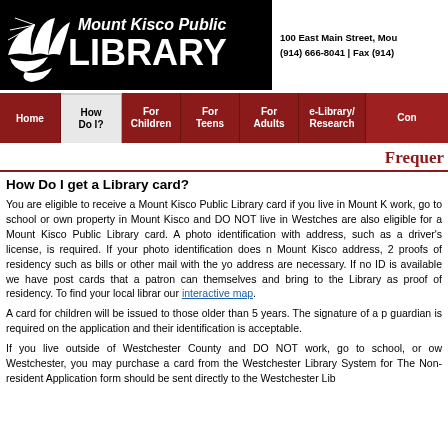[Figure (logo): Mount Kisco Public Library logo — white bird/dove silhouette on black background with text 'Mount Kisco Public LIBRARY' in white]
100 East Main Street, Mou
(914) 666-8041 | Fax (914)
Home | How Do I? | For Children | For Teens | For Adults | e-Library/Research | Con...
Frequer
How Do I get a Library card?
You are eligible to receive a Mount Kisco Public Library card if you live in Mount K work, go to school or own property in Mount Kisco and DO NOT live in Westches are also eligible for a Mount Kisco Public Library card. A photo identification with address, such as a driver's license, is required. If your photo identification does n Mount Kisco address, 2 proofs of residency such as bills or other mail with the yo address are necessary. If no ID is available we have post cards that a patron can themselves and bring to the Library as proof of residency. To find your local librar our interactive map.
A card for children will be issued to those older than 5 years. The signature of a p guardian is required on the application and their identification is acceptable.
If you live outside of Westchester County and DO NOT work, go to school, or ow Westchester, you may purchase a card from the Westchester Library System for The Non-resident Application form should be sent directly to the Westchester Lib